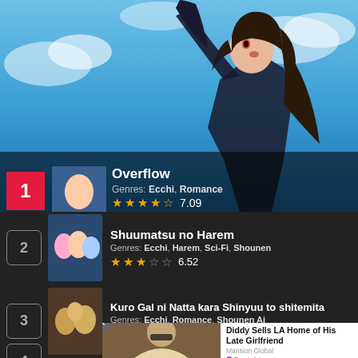[Figure (illustration): Anime screenshot hero image with blue sky background and dark-haired female anime character]
1 Overflow
Genres: Ecchi, Romance
★★★★½ 7.09
2 Shuumatsu no Harem
Genres: Ecchi, Harem, Sci-Fi, Shounen
★★★☆☆ 6.52
3 Kuro Gal ni Natta kara Shinyuu to shitemita
Genres: Ecchi, Romance, Shounen Ai
★★★☆☆ 6.05
4
[Figure (photo): Advertisement photo of a man in sunglasses with text: Diddy Sells LA Home of His Late Girlfriend - Mansion Global - PurpleAds]